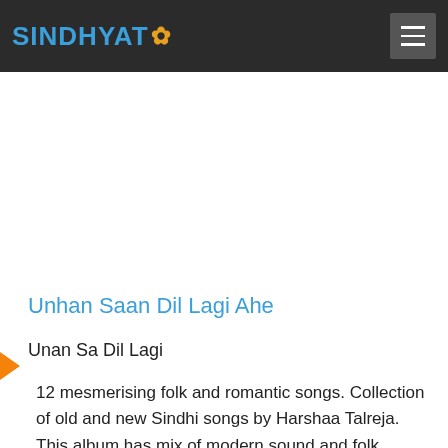SINDHYAT (logo with flower icon) [hamburger menu]
Unhan Saan Dil Lagi Ahe
Unan Sa Dil Lagi
12 mesmerising folk and romantic songs. Collection of old and new Sindhi songs by Harshaa Talreja. This album has mix of modern sound and folk instrument music. In the memory of Dr. Prem Nariandas Talreja. Unan Sa Dil Lagi. All songs designed, arranged and mixed by Jagdish Lalwani